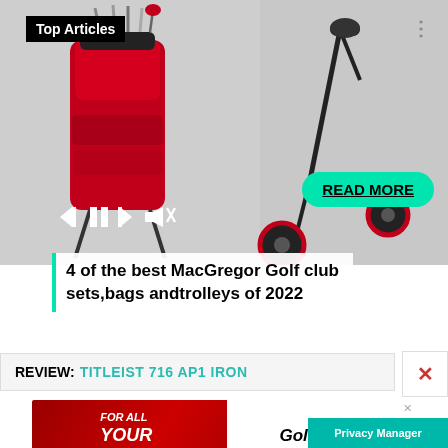[Figure (photo): Golf bag with red and black clubs on left, black golf trolley on right, on grey background. Media player controls at bottom left. 'READ MORE' teal button at bottom right.]
Top Articles
4 of the best MacGregor Golf club sets,bags andtrolleys of 2022
REVIEW: TITLEIST 716 AP1 IRON
[Figure (photo): GolfMagic YouTube ad banner: left side red background with 'FOR ALL YOUR GOLF NEEDS' text, right side white with GolfMagic logo and YouTube badge.]
Privacy Manager